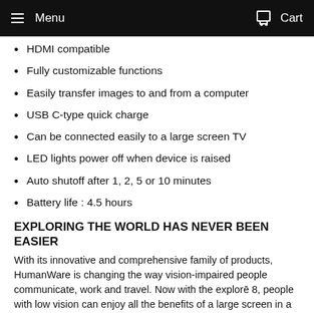Menu  Cart
HDMI compatible
Fully customizable functions
Easily transfer images to and from a computer
USB C-type quick charge
Can be connected easily to a large screen TV
LED lights power off when device is raised
Auto shutoff after 1, 2, 5 or 10 minutes
Battery life : 4.5 hours
EXPLORING THE WORLD HAS NEVER BEEN EASIER
With its innovative and comprehensive family of products, HumanWare is changing the way vision-impaired people communicate, work and travel. Now with the explorē 8, people with low vision can enjoy all the benefits of a large screen in a compact, portable package, with zero compromise on style, quality and comfort.
This product is eligible for our 30 day, no-risk Return Guarantee. If you are not completely